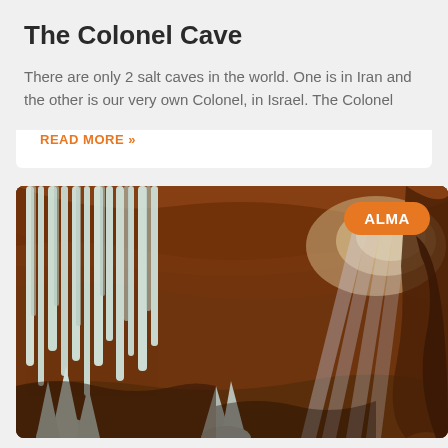The Colonel Cave
There are only 2 salt caves in the world. One is in Iran and the other is our very own Colonel, in Israel. The Colonel
READ MORE »
[Figure (photo): Interior of a cave with white stalactites/salt formations hanging from the ceiling on the left side, rocky brown walls in the background, and beams of light streaming in from an opening on the right. An orange badge with the text ALMA appears in the top right corner.]